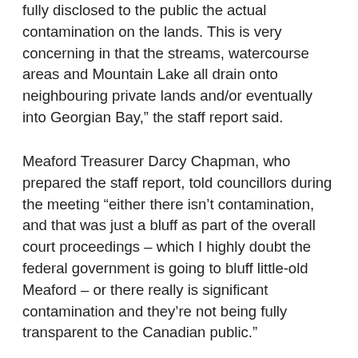fully disclosed to the public the actual contamination on the lands. This is very concerning in that the streams, watercourse areas and Mountain Lake all drain onto neighbouring private lands and/or eventually into Georgian Bay," the staff report said.
Meaford Treasurer Darcy Chapman, who prepared the staff report, told councillors during the meeting "either there isn't contamination, and that was just a bluff as part of the overall court proceedings – which I highly doubt the federal government is going to bluff little-old Meaford – or there really is significant contamination and they're not being fully transparent to the Canadian public."
In an interview, Chapman said he didn't know the extent of any potential contamination on the base but was concerned enough from what was disclosed during the appeal proceedings to escalate the issue.